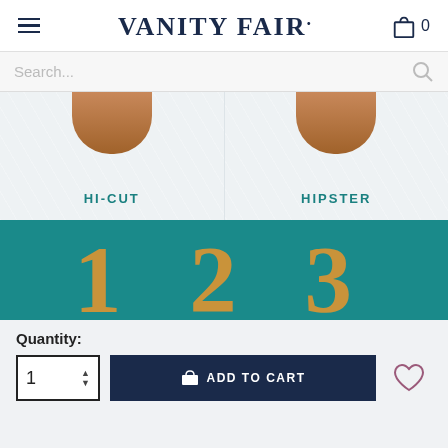VANITY FAIR.
Search...
HI-CUT
HIPSTER
[Figure (illustration): Teal banner with large gold numbers 1, 2, 3]
Quantity:
1
ADD TO CART